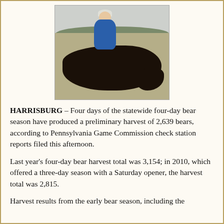[Figure (photo): Person posing behind a large harvested black bear lying in a field. The person is wearing a blue sweatshirt and white cap. The bear is very large and dark-colored, lying in dry grass in an open field with tree lines visible in the background.]
HARRISBURG – Four days of the statewide four-day bear season have produced a preliminary harvest of 2,639 bears, according to Pennsylvania Game Commission check station reports filed this afternoon.
Last year's four-day bear harvest total was 3,154; in 2010, which offered a three-day season with a Saturday opener, the harvest total was 2,815.
Harvest results from the early bear season, including the